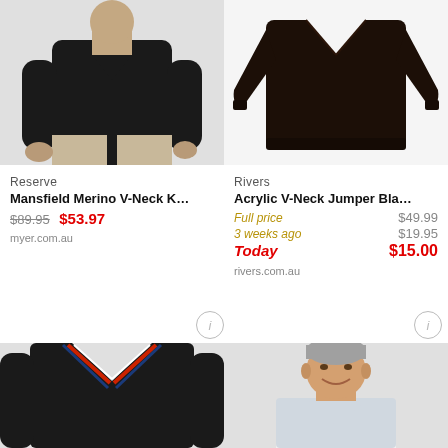[Figure (photo): Black V-neck merino sweater worn by male model, cropped at torso, light background]
Reserve
Mansfield Merino V-Neck K…
$89.95 $53.97
myer.com.au
[Figure (photo): Dark brown V-neck jumper on white background, no model]
Rivers
Acrylic V-Neck Jumper Bla…
Full price $49.99 3 weeks ago $19.95 Today $15.00
rivers.com.au
[Figure (photo): Black V-neck sweater with red and blue stripe trim, partially visible at bottom left]
[Figure (photo): Man smiling wearing white collared shirt, partially visible at bottom right]